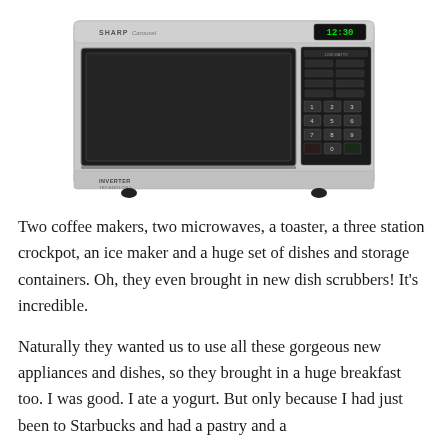[Figure (photo): A silver Sharp Carousel microwave oven with black door, control panel with number buttons on the right side, digital clock display showing 12:30, and INVERTER label on the bottom left.]
Two coffee makers, two microwaves, a toaster, a three station crockpot, an ice maker and a huge set of dishes and storage containers. Oh, they even brought in new dish scrubbers! It’s incredible.
Naturally they wanted us to use all these gorgeous new appliances and dishes, so they brought in a huge breakfast too. I was good. I ate a yogurt. But only because I had just been to Starbucks and had a pastry and a